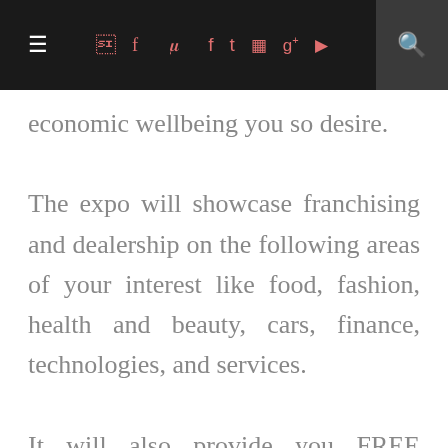≡  f  t  ☷  g+  ▶  🔍
economic wellbeing you so desire.
The expo will showcase franchising and dealership on the following areas of your interest like food, fashion, health and beauty, cars, finance, technologies, and services.
It will also provide you FREE Business seminars that will